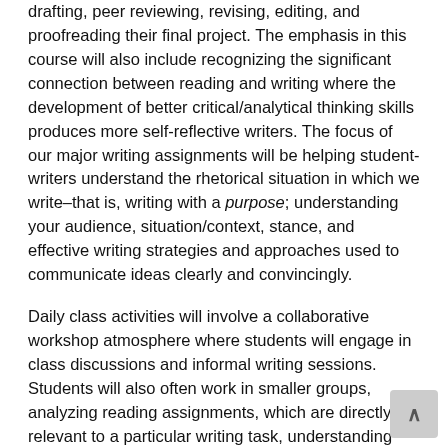drafting, peer reviewing, revising, editing, and proofreading their final project.  The emphasis in this course will also include recognizing the significant connection between reading and writing where the development of better critical/analytical thinking skills produces more self-reflective writers. The focus of our major writing assignments will be helping student-writers understand the rhetorical situation in which we write–that is, writing with a purpose; understanding your audience, situation/context, stance, and effective writing strategies and approaches used to communicate ideas clearly and convincingly.
Daily class activities will involve a collaborative workshop atmosphere where students will engage in class discussions and informal writing sessions. Students will also often work in smaller groups, analyzing reading assignments, which are directly relevant to a particular writing task, understanding how particular writing concepts and